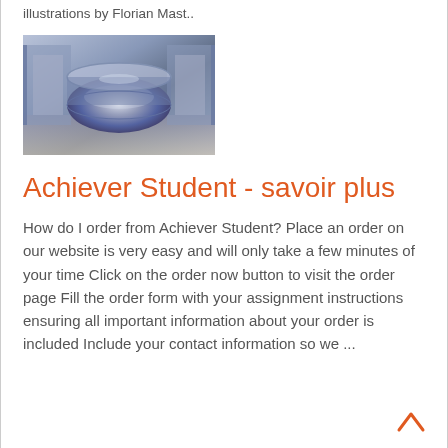illustrations by Florian Mast..
[Figure (photo): Industrial machinery photo showing a large cylindrical metal roller/drum in a warehouse or factory setting, with metallic blue-grey tones]
Achiever Student - savoir plus
How do I order from Achiever Student? Place an order on our website is very easy and will only take a few minutes of your time Click on the order now button to visit the order page Fill the order form with your assignment instructions ensuring all important information about your order is included Include your contact information so we ...